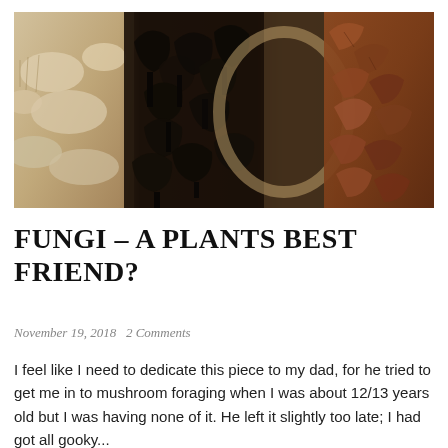[Figure (photo): A wide photograph showing an assortment of foraged mushrooms: pale sliced mushrooms on the left, dark black chanterelle-type mushrooms in a wicker basket in the center, and brown autumn leaves on the right.]
FUNGI – A PLANTS BEST FRIEND?
November 19, 2018   2 Comments
I feel like I need to dedicate this piece to my dad, for he tried to get me in to mushroom foraging when I was about 12/13 years old but I was having none of it. He left it slightly too late; I had got all gooky...